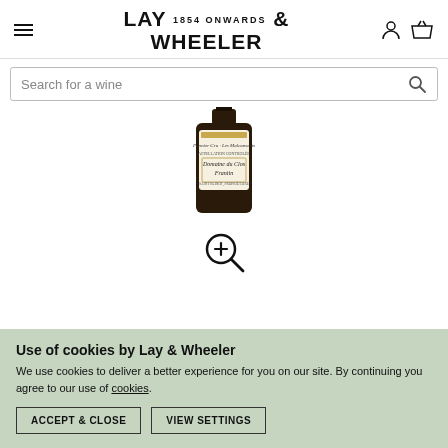LAY & WHEELER 1854 ONWARDS
[Figure (screenshot): Search bar with placeholder text 'Search for a wine' and a magnifying glass icon on the right]
[Figure (photo): Wine bottle showing label 'Domaine du Clos Frantin' Premier Cru Les Malconsorts, partially cropped showing the upper portion of the bottle]
[Figure (other): Zoom/magnify icon (magnifying glass with plus sign)]
Use of cookies by Lay & Wheeler
We use cookies to deliver a better experience for you on our site. By continuing you agree to our use of cookies.
ACCEPT & CLOSE
VIEW SETTINGS